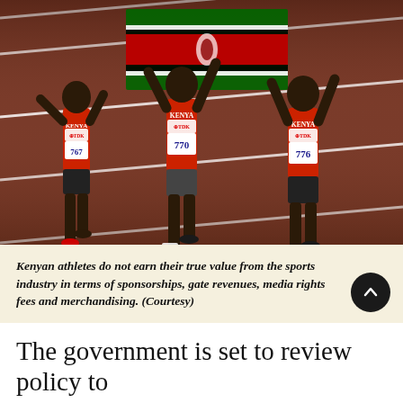[Figure (photo): Three Kenyan athletes in red KENYA uniforms (bib numbers 767, 770, 776 with TDK sponsor logo) running on a track, celebrating with a Kenyan flag held overhead.]
Kenyan athletes do not earn their true value from the sports industry in terms of sponsorships, gate revenues, media rights fees and merchandising. (Courtesy)
The government is set to review policy to